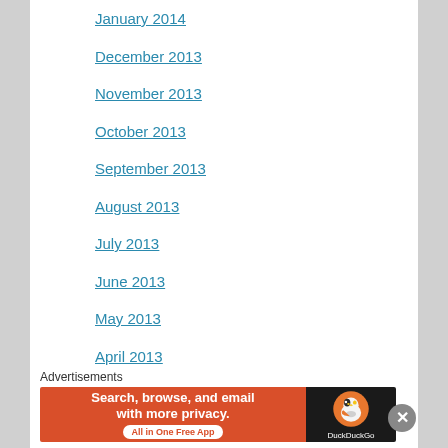January 2014
December 2013
November 2013
October 2013
September 2013
August 2013
July 2013
June 2013
May 2013
April 2013
March 2013
February 2013
January 2013
December 2012
Advertisements
[Figure (other): DuckDuckGo advertisement banner: orange left side with text 'Search, browse, and email with more privacy. All in One Free App' and dark right side with DuckDuckGo duck logo and brand name.]